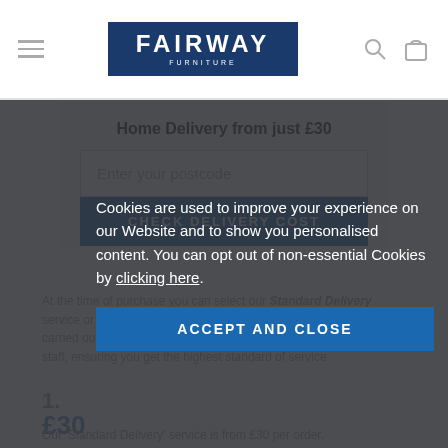FAIRWAY FURNITURE — website header with hamburger menu, logo, search and bag icons
Home Delivery from just £30
Enter your postcode
CHECK DELIVERY COST
At the time of purchase you can select our Standard Delivery service or our Delivery & Set-Up-Service service. All deliveries are carried out using our own fleet of vehicles and dedicated, trained staff, ensuring you get the highest standard of service.
Cookies are used to improve your experience on our Website and to show you personalised content. You can opt out of non-essential Cookies by clicking here.
ACCEPT AND CLOSE
1.
£30
Our 'Standard Delivery' service is from £30 per order.